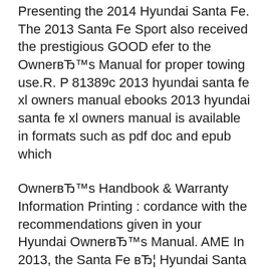Presenting the 2014 Hyundai Santa Fe. The 2013 Santa Fe Sport also received the prestigious GOOD efer to the OwnerвЂ™s Manual for proper towing use.R. P 81389c 2013 hyundai santa fe xl owners manual ebooks 2013 hyundai santa fe xl owners manual is available in formats such as pdf doc and epub which
OwnerвЂ™s Handbook & Warranty Information Printing : cordance with the recommendations given in your Hyundai OwnerвЂ™s Manual. AME In 2013, the Santa Fe вЂ¦ Hyundai Santa Fe 2013 2014 2015 2016 2017 factory repair manual. Hyundai is it possible to use the same service manual for a